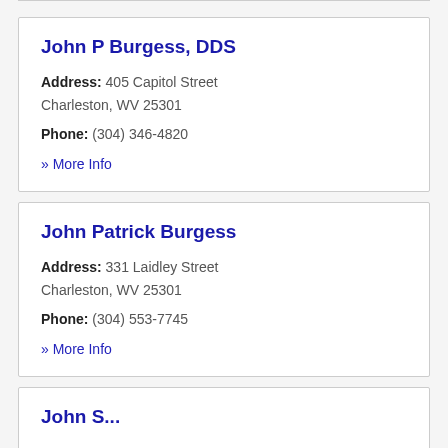John P Burgess, DDS
Address: 405 Capitol Street Charleston, WV 25301
Phone: (304) 346-4820
» More Info
John Patrick Burgess
Address: 331 Laidley Street Charleston, WV 25301
Phone: (304) 553-7745
» More Info
John ...